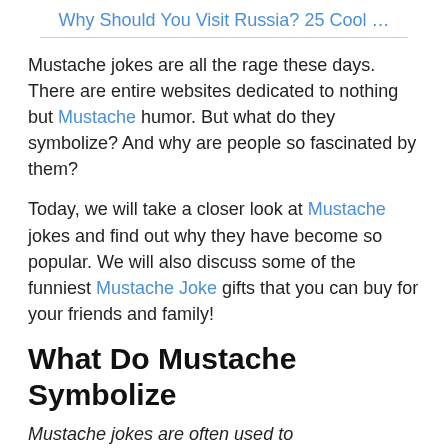Why Should You Visit Russia? 25 Cool …
Mustache jokes are all the rage these days. There are entire websites dedicated to nothing but Mustache humor. But what do they symbolize? And why are people so fascinated by them?
Today, we will take a closer look at Mustache jokes and find out why they have become so popular. We will also discuss some of the funniest Mustache Joke gifts that you can buy for your friends and family!
What Do Mustache Symbolize
Mustache jokes are often used to